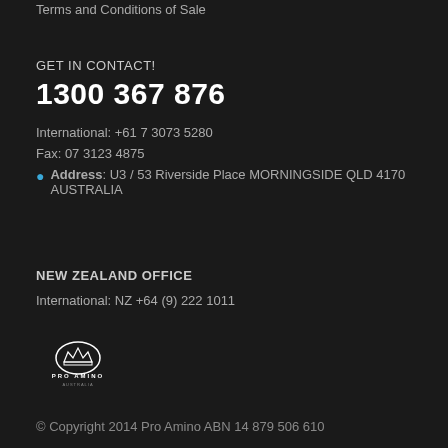Terms and Conditions of Sale
GET IN CONTACT!
1300 367 876
International: +61 7 3073 5280
Fax: 07 3123 4875
Address: U3 / 53 Riverside Place MORNINGSIDE QLD 4170 AUSTRALIA
NEW ZEALAND OFFICE
International: NZ +64 (9) 222 1011
[Figure (logo): Pro Amino logo — crown/shield icon with PRO AMINO text beneath]
© Copyright 2014 Pro Amino ABN 14 879 506 610